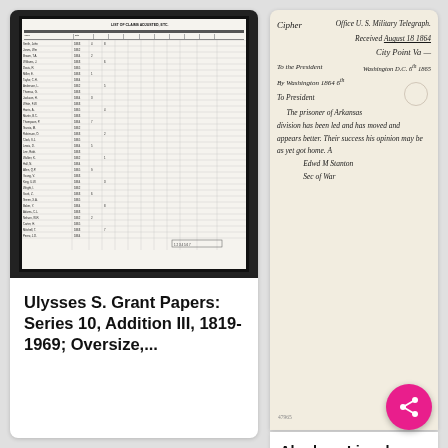[Figure (photo): Scanned historical document showing a tabular ledger/register with multiple columns and rows of small handwritten or typed data, black and white, with a dark border.]
Ulysses S. Grant Papers: Series 10, Addition III, 1819-1969; Oversize,...
[Figure (photo): Scanned handwritten letter on aged paper. Text reads: 'Cipher Office U.S. Military Telegraph. [date] City Point, Va... To President. The prisoner of Arkansas division has been led and has moved and appears better. Their success his opinion may be as yet got home. [Signed] Edwd M Stanton, Sec of War']
Abraham Lincoln papers: Series 1. General Correspondence. 1833-1916: E...